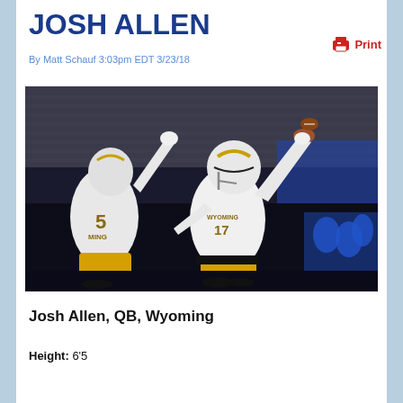JOSH ALLEN
By Matt Schauf 3:03pm EDT 3/23/18
[Figure (photo): Josh Allen, Wyoming QB #17, throwing a pass during a night game, wearing white and gold Wyoming uniform. A teammate (#5) is visible to the left. Stadium crowd in background.]
Josh Allen, QB, Wyoming
Height: 6'5